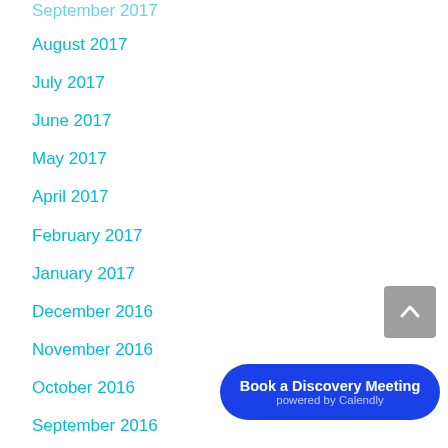September 2017
August 2017
July 2017
June 2017
May 2017
April 2017
February 2017
January 2017
December 2016
November 2016
October 2016
September 2016
August 2016
July 2016
[Figure (other): Scroll to top button — grey rounded square with an upward caret arrow icon]
Book a Discovery Meeting
powered by Calendly